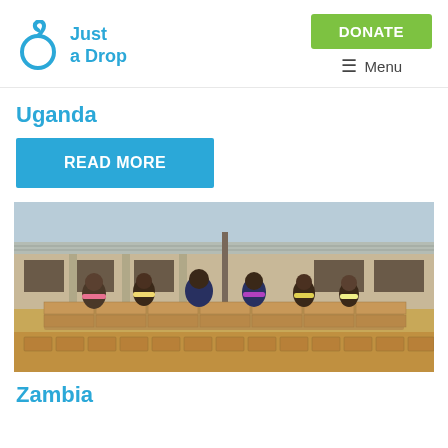Just a Drop | DONATE | Menu
Uganda
READ MORE
[Figure (photo): Group of children sitting on a low brick wall outside a building with a metal roof, in what appears to be a rural African setting. The ground is sandy. The children are smiling and looking at the camera.]
Zambia